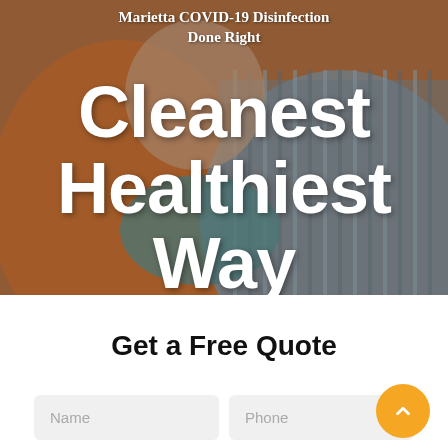[Figure (photo): Hero banner photo showing two people embracing and smiling, one in orange shirt, one in striped shirt, with overlay text about Marietta COVID-19 Disinfection]
Marietta COVID-19 Disinfection Done Right
Cleanest Healthiest Way
Get a Free Quote
Name
Phone